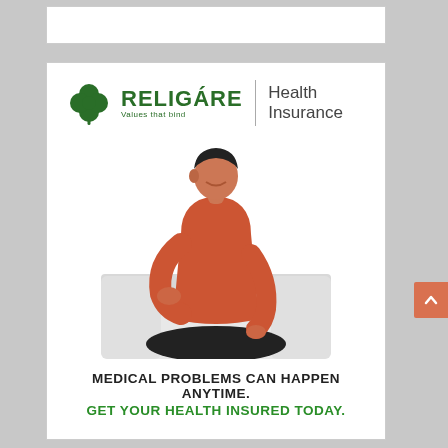[Figure (logo): Religare Health Insurance logo with green four-leaf clover icon, brand name RELIGARE with tagline Values that bind, and Health Insurance text]
[Figure (photo): Man in orange/red t-shirt sitting cross-legged on a white couch, holding his back in pain]
MEDICAL PROBLEMS CAN HAPPEN ANYTIME. GET YOUR HEALTH INSURED TODAY.